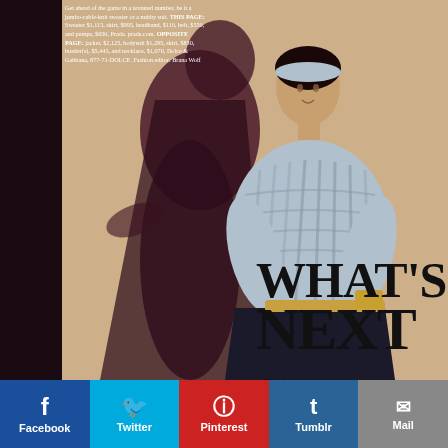[Figure (photo): Fashion magazine spread showing a female model wearing a chunky cable-knit light blue sweater and matching headband, with a dark dramatic shadow behind her on a tan/beige background. The model is posed against the shadow with hands on hips.]
Get ahead of the game in a textured number, be it a jumbo-cable-knit sweater or a nubby suit. THIS PAGE: Sweater $1,115, skirt, $995, headband, $110, belt, $550, and pumps, $650, Prada. prada.com. OPPOSITE PAGE: jacket, $2,125, bodysuit $1,295, skirt, $830, bustier(s), $5,445, and necklace, $1,070, Dolce & Gabbana, 877-71-DOLCE. Fashion editor: Brana Wolf
WHAT'S NEXT
The focus is on luxe looks with NEW SHAPES, clean tailoring...
[Figure (infographic): Social media sharing bar with Facebook, Twitter, Pinterest, Tumblr, and Mail buttons]